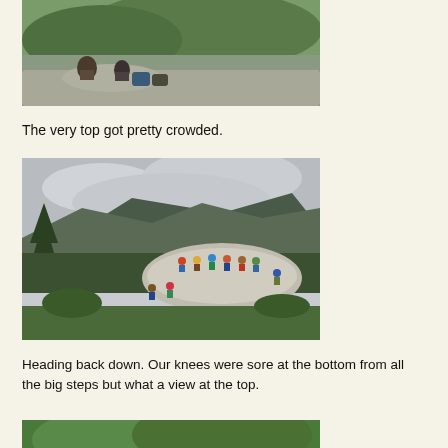[Figure (photo): Hikers sitting on a flat rocky summit with green mountain landscape and foliage in the background.]
The very top got pretty crowded.
[Figure (photo): A large rounded rock summit crowded with people sitting and standing, with forested mountains and cloudy sky in the background.]
Heading back down. Our knees were sore at the bottom from all the big steps but what a view at the top.
[Figure (photo): Partial view of a green forested hillside, bottom of page.]